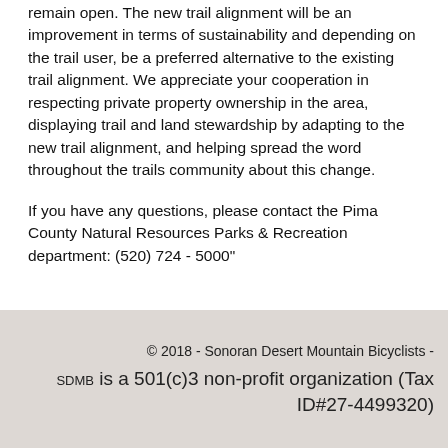remain open. The new trail alignment will be an improvement in terms of sustainability and depending on the trail user, be a preferred alternative to the existing trail alignment. We appreciate your cooperation in respecting private property ownership in the area, displaying trail and land stewardship by adapting to the new trail alignment, and helping spread the word throughout the trails community about this change.
If you have any questions, please contact the Pima County Natural Resources Parks & Recreation department: (520) 724 - 5000"
© 2018 - Sonoran Desert Mountain Bicyclists - SDMB is a 501(c)3 non-profit organization (Tax ID#27-4499320)